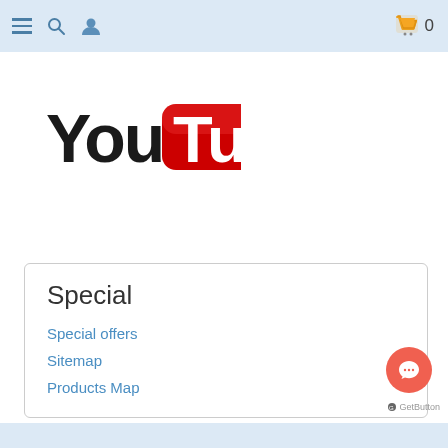Navigation bar with hamburger menu, search, user icon, and cart (0)
[Figure (logo): YouTube logo — 'You' in black bold text and 'Tube' in white on red rounded rectangle]
Special
Special offers
Sitemap
Products Map
[Figure (other): Orange/coral chat bubble button (GetButton)]
GetButton